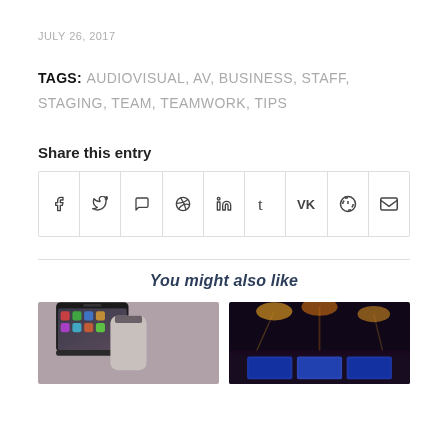JULY 26, 2017
TAGS: AUDIOVISUAL, AV, BUSINESS, STAFF, STAGING, TEAM, TEAMWORK, TIPS
Share this entry
[Figure (other): Social media share icons row: Facebook, Twitter, WhatsApp, Pinterest, LinkedIn, Tumblr, VK, Reddit, Email]
You might also like
[Figure (photo): Person holding a smartphone]
[Figure (photo): Stage with blue lighting and screens]